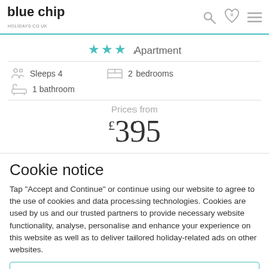blue chip holidays.co.uk
★★★ Apartment
Sleeps 4 | 2 bedrooms | 1 bathroom
Prices from £395
Cookie notice
Tap "Accept and Continue" or continue using our website to agree to the use of cookies and data processing technologies. Cookies are used by us and our trusted partners to provide necessary website functionality, analyse, personalise and enhance your experience on this website as well as to deliver tailored holiday-related ads on other websites.
Accept and Continue